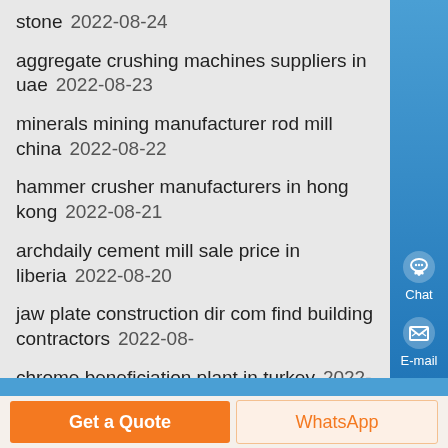stone  2022-08-24
aggregate crushing machines suppliers in uae  2022-08-23
minerals mining manufacturer rod mill china  2022-08-22
hammer crusher manufacturers in hong kong  2022-08-21
archdaily cement mill sale price in liberia  2022-08-20
jaw plate construction dir com find building contractors  2022-08-
chrome beneficiation plant in turkey  2022-08-18
saw mill monetery exchange  2022-08-17
ball size calculation for ball mill  2022-08-16